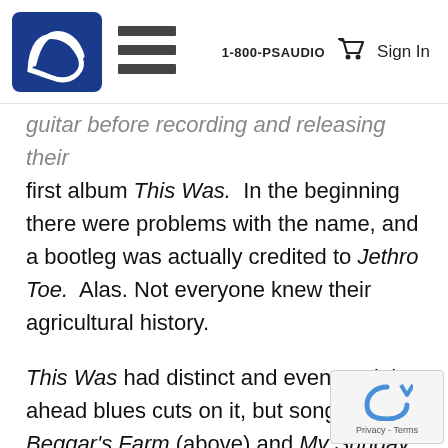1-800-PSAUDIO  Sign In
guitar before recording and releasing their first album This Was. In the beginning there were problems with the name, and a bootleg was actually credited to Jethro Toe. Alas. Not everyone knew their agricultural history.
This Was had distinct and even straight ahead blues cuts on it, but songs like Beggar’s Farm (above) and My Sunday Feeling showed a direction and foreshadowed how the band would eventually sound. Mick Abrahams left t pursue straight ahead blues, starting a band